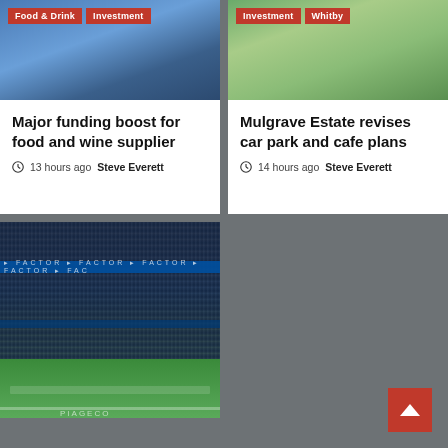[Figure (photo): Top portion of article card showing a person in a blue shirt, with tags 'Food & Drink' and 'Investment']
[Figure (photo): Top portion of article card showing green foliage/trees, with tags 'Investment' and 'Whitby']
Major funding boost for food and wine supplier
13 hours ago  Steve Everett
Mulgrave Estate revises car park and cafe plans
14 hours ago  Steve Everett
[Figure (photo): Photo of a football stadium with a large crowd in the stands and green pitch visible at the bottom]